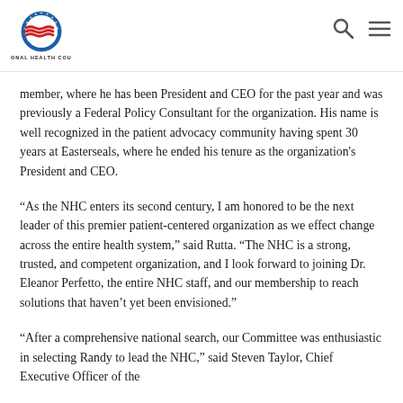NATIONAL HEALTH COUNCIL
member, where he has been President and CEO for the past year and was previously a Federal Policy Consultant for the organization. His name is well recognized in the patient advocacy community having spent 30 years at Easterseals, where he ended his tenure as the organization's President and CEO.
“As the NHC enters its second century, I am honored to be the next leader of this premier patient-centered organization as we effect change across the entire health system,” said Rutta. “The NHC is a strong, trusted, and competent organization, and I look forward to joining Dr. Eleanor Perfetto, the entire NHC staff, and our membership to reach solutions that haven’t yet been envisioned.”
“After a comprehensive national search, our Committee was enthusiastic in selecting Randy to lead the NHC,” said Steven Taylor, Chief Executive Officer of the